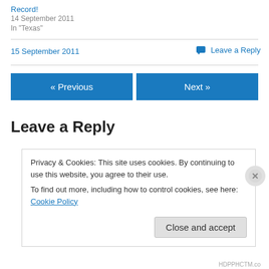Record!
14 September 2011
In "Texas"
15 September 2011
💬 Leave a Reply
« Previous
Next »
Leave a Reply
Privacy & Cookies: This site uses cookies. By continuing to use this website, you agree to their use.
To find out more, including how to control cookies, see here: Cookie Policy
Close and accept
HDPPHCTM.co